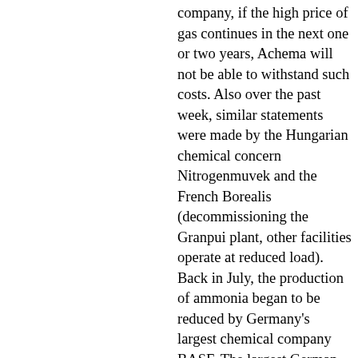company, if the high price of gas continues in the next one or two years, Achema will not be able to withstand such costs. Also over the past week, similar statements were made by the Hungarian chemical concern Nitrogenmuvek and the French Borealis (decommissioning the Granpui plant, other facilities operate at reduced load). Back in July, the production of ammonia began to be reduced by Germany's largest chemical company BASF. The largest German ammonia manufacturer SKW Piesteritz also reduced the load. The interlocutor of Kommersant, familiar with the situation, notes that now 70% of European capacities for the production of ammonia (24m tons/yr) and urea (13m tons/yr) production has been significantly reduced or stopped.
According to Kommersant